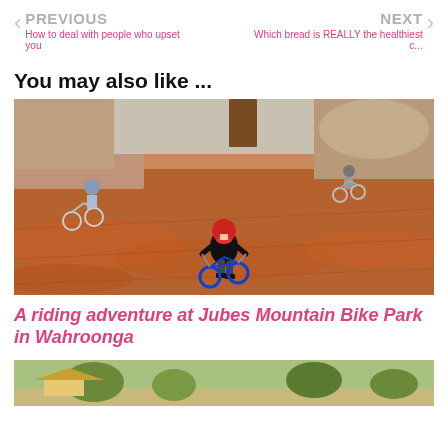PREVIOUS | How to deal with people who upset you    NEXT | Which bread is REALLY the healthiest c...
You may also like ...
[Figure (photo): Children riding bikes on a red dirt pump track at Jubes Mountain Bike Park in Wahroonga. A child in a red helmet and black shirt is in the foreground on a blue bike, and two other children are visible in the background on bikes.]
A riding adventure at Jubes Mountain Bike Park in Wahroonga
[Figure (photo): Partial view of another outdoor scene, cut off at bottom of page.]